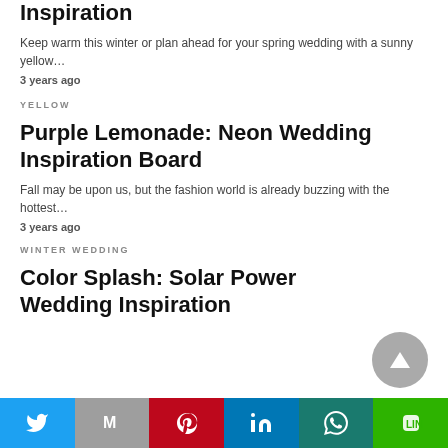Inspiration
Keep warm this winter or plan ahead for your spring wedding with a sunny yellow…
3 years ago
YELLOW
Purple Lemonade: Neon Wedding Inspiration Board
Fall may be upon us, but the fashion world is already buzzing with the hottest…
3 years ago
WINTER WEDDING
Color Splash: Solar Power Wedding Inspiration
Twitter | Gmail | Pinterest | LinkedIn | WhatsApp | LINE